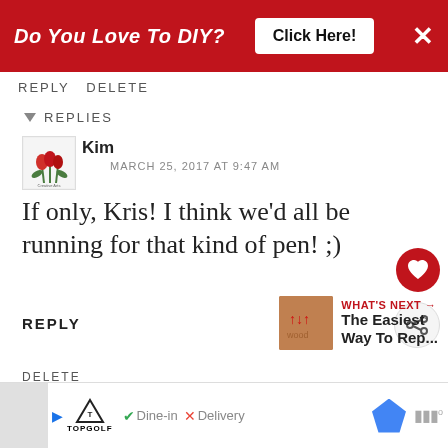[Figure (screenshot): Red banner advertisement: 'Do You Love To DIY? Click Here!' with X close button]
REPLY DELETE
▾ REPLIES
Kim
MARCH 25, 2017 AT 9:47 AM
If only, Kris! I think we'd all be running for that kind of pen! ;)
DELETE
REPLY
WHAT'S NEXT → The Easiest Way To Rep...
[Figure (screenshot): Bottom ad bar: TopGolf ad with Dine-in checkmark, Delivery X, map icon, and weather bars]